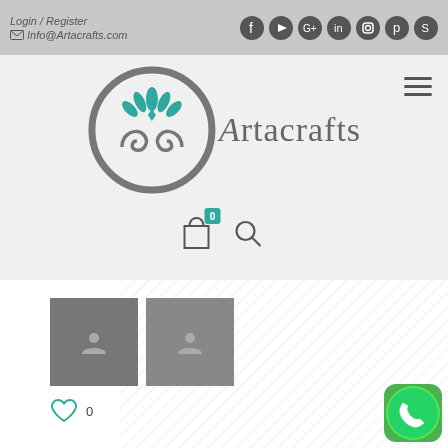Login / Register | Info@Artacrafts.com | Social icons: Facebook, YouTube, Google+, LinkedIn, Instagram, Pinterest, Skype
[Figure (logo): Artacrafts logo with teal floral/peacock circular emblem and stylized text 'Artacrafts' in grey serif font]
[Figure (screenshot): Navigation icons: shopping bag with teal badge showing '0', and a search icon]
[Figure (screenshot): Two grey placeholder thumbnail images with small user/person icons]
[Figure (screenshot): Heart/like icon in teal with count '0' next to it]
[Figure (screenshot): WhatsApp floating action button (green circle with phone handset icon) in bottom-right corner]